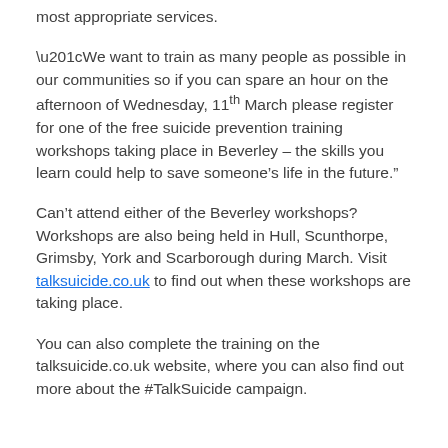most appropriate services.
“We want to train as many people as possible in our communities so if you can spare an hour on the afternoon of Wednesday, 11th March please register for one of the free suicide prevention training workshops taking place in Beverley – the skills you learn could help to save someone’s life in the future.”
Can’t attend either of the Beverley workshops? Workshops are also being held in Hull, Scunthorpe, Grimsby, York and Scarborough during March. Visit talksuicide.co.uk to find out when these workshops are taking place.
You can also complete the training on the talksuicide.co.uk website, where you can also find out more about the #TalkSuicide campaign.